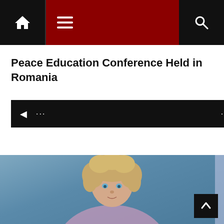Navigation bar with home icon, menu icon, and search icon
Peace Education Conference Held in Romania
◄ ... ... ►
PROMOTED CONTENT
[Figure (photo): Photo of a woman with curly blonde hair and blue eyes, against a blue background, below a promoted content bar with mgid logo]